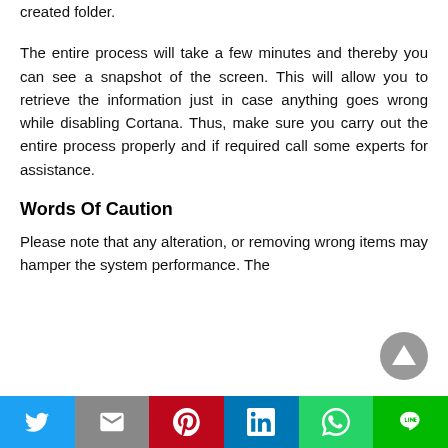created folder.
The entire process will take a few minutes and thereby you can see a snapshot of the screen. This will allow you to retrieve the information just in case anything goes wrong while disabling Cortana. Thus, make sure you carry out the entire process properly and if required call some experts for assistance.
Words Of Caution
Please note that any alteration, or removing wrong items may hamper the system performance. The